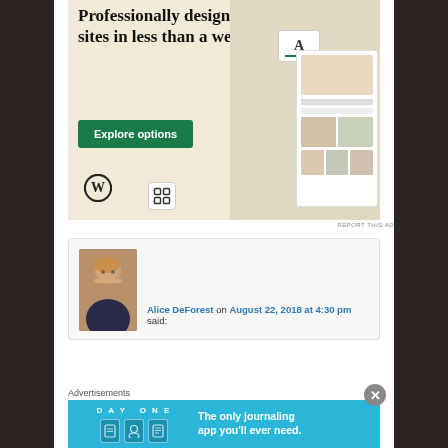[Figure (screenshot): WordPress/Squarespace advertisement banner: 'Professionally designed sites in less than a week' with green 'Explore options' button, WordPress and Squarespace logos, and mockup website screenshots on beige background.]
REPORT THIS AD
[Figure (screenshot): Comment section with avatar photo of a woman (Alice DeForest), comment metadata showing 'Alice DeForest on August 22, 2018 at 4:30 pm said:']
Alice DeForest on August 22, 2018 at 4:30 pm said:
Advertisements
[Figure (screenshot): Day One app advertisement on blue background: 'DAY ONE' text with three app icons and tagline 'The only journaling app you'll ever need.']